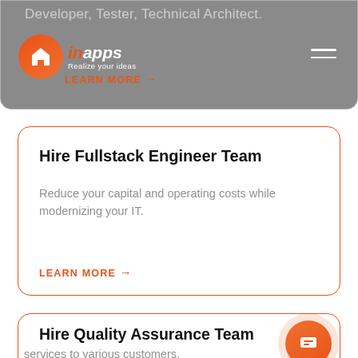Developer, Tester, Technical Architect.
[Figure (logo): InApps logo with orange circle and house/pin icon, text 'inapps Realize your ideas', with LEARN MORE link and hamburger menu]
Hire Fullstack Engineer Team
Reduce your capital and operating costs while modernizing your IT.
LEARN MORE →
Hire Quality Assurance Team
We deliver stand-alone and integrated testing services to various customers.